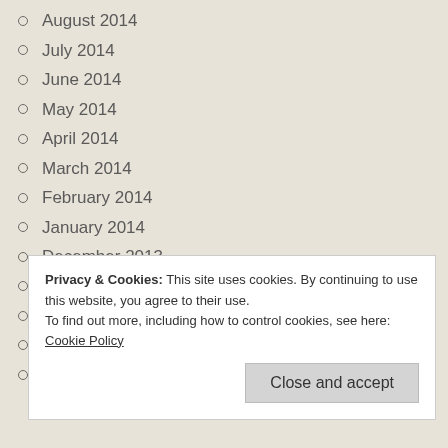August 2014
July 2014
June 2014
May 2014
April 2014
March 2014
February 2014
January 2014
December 2013
November 2013
October 2013
September 2013
August 2013
Privacy & Cookies: This site uses cookies. By continuing to use this website, you agree to their use.
To find out more, including how to control cookies, see here: Cookie Policy
Close and accept